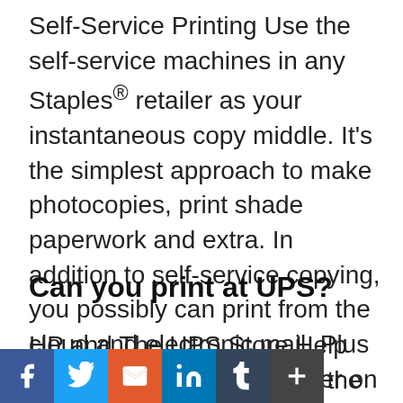Self-Service Printing Use the self-service machines in any Staples® retailer as your instantaneous copy middle. It's the simplest approach to make photocopies, print shade paperwork and extra. In addition to self-service copying, you possibly can print from the cloud and electronic mail. Plus you possibly can pay proper on the machine to avoid wasting time.
Can you print at UPS?
HP and The UPS Store Help Customers Print While On the Go. By downloading the HP ePrint Service utility on a BlackBerry®, iOS™ or
[Figure (other): Social sharing bar with icons for Facebook, Twitter, Email, LinkedIn, Tumblr, and a plus/share button]